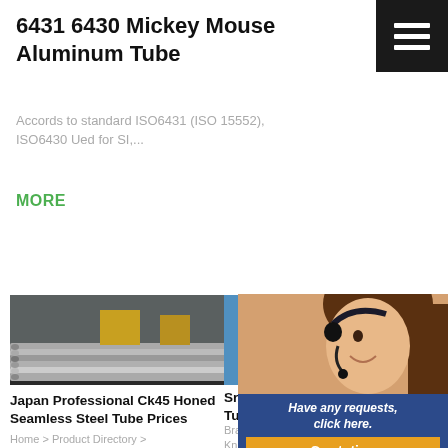6431 6430 Mickey Mouse Aluminum Tube
Accords to standard ISO6431 (ISO 15552), ISO6430 Ued for SI,...
MORE
24/7 Online
[Figure (photo): Stacked aluminum tubes in a warehouse]
Japan Professional Ck45 Honed Seamless Steel Tube Prices
Home > Product Directory > Catalyst and Auxiliary > Chemical Auxiliary Agent >
[Figure (photo): Various metal tubes on blue background]
Sri Lanka 63 Tubes
Brass Tubes Red Knitted Copper Wire Mesh Tube Sleeve For Demister 63mm Phosphor Bronze Tube Pressure
[Figure (photo): Customer service representative with headset]
Have any requests, click here.
Quotation